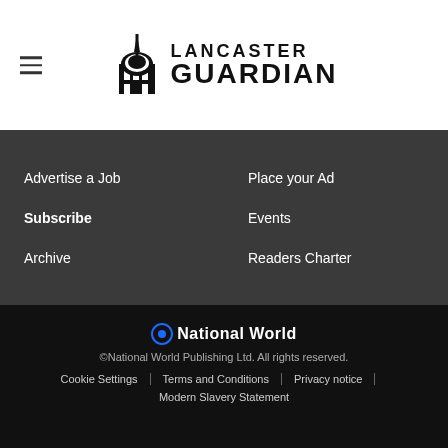[Figure (logo): Lancaster Guardian newspaper logo with building icon and text]
Advertise a Job
Place your Ad
Subscribe
Events
Archive
Readers Charter
[Figure (logo): National World logo with blue circle icon]
©National World Publishing Ltd. All rights reserved.
Cookie Settings | Terms and Conditions | Privacy notice | Modern Slavery Statement